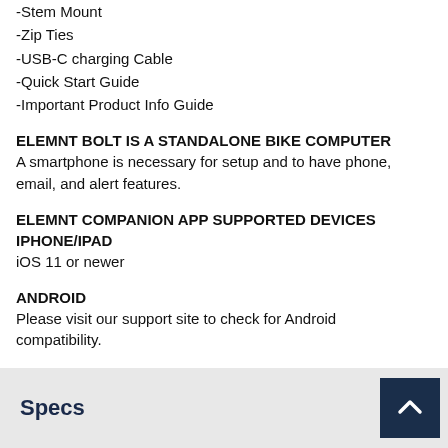-Stem Mount
-Zip Ties
-USB-C charging Cable
-Quick Start Guide
-Important Product Info Guide
ELEMNT BOLT IS A STANDALONE BIKE COMPUTER
A smartphone is necessary for setup and to have phone, email, and alert features.
ELEMNT COMPANION APP SUPPORTED DEVICES
IPHONE/IPAD
iOS 11 or newer
ANDROID
Please visit our support site to check for Android compatibility.
Specs